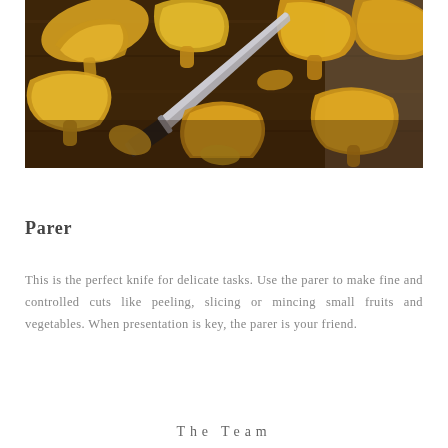[Figure (photo): Overhead view of golden chanterelle mushrooms on a dark wooden cutting board with a chef's paring knife with a black handle in the center]
Parer
This is the perfect knife for delicate tasks. Use the parer to make fine and controlled cuts like peeling, slicing or mincing small fruits and vegetables. When presentation is key, the parer is your friend.
The Team